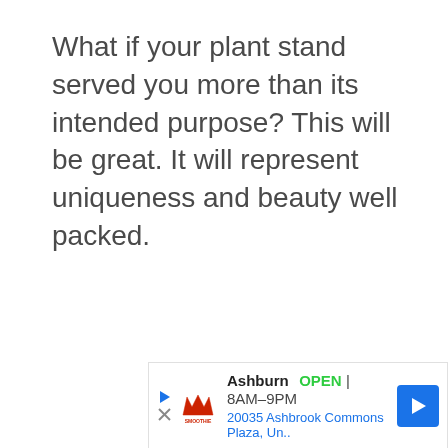What if your plant stand served you more than its intended purpose? This will be great. It will represent uniqueness and beauty well packed.
[Figure (other): Advertisement banner for Smoothie King in Ashburn. Shows business name 'Ashburn', status 'OPEN', hours '8AM-9PM', address '20035 Ashbrook Commons Plaza, Un..', with logo and navigation arrow icon.]